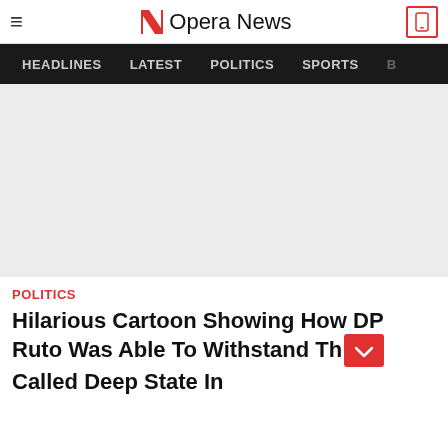Opera News
HEADLINES  LATEST  POLITICS  SPORTS
[Figure (other): Large light gray placeholder image area for article]
POLITICS
Hilarious Cartoon Showing How DP Ruto Was Able To Withstand The So Called Deep State In